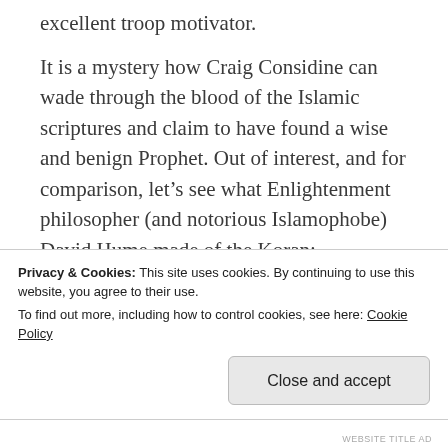excellent troop motivator.
It is a mystery how Craig Considine can wade through the blood of the Islamic scriptures and claim to have found a wise and benign Prophet. Out of interest, and for comparison, let’s see what Enlightenment philosopher (and notorious Islamophobe) David Hume made of the Koran:
“...would we know, whether the pretended
Privacy & Cookies: This site uses cookies. By continuing to use this website, you agree to their use.
To find out more, including how to control cookies, see here: Cookie Policy
Close and accept